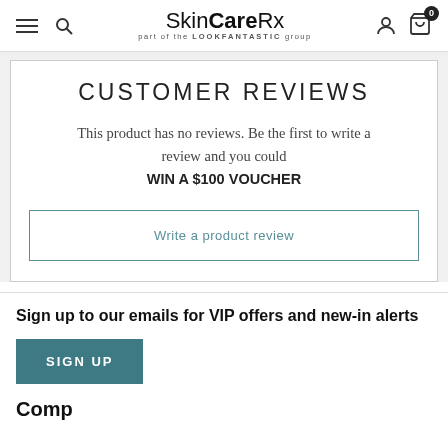SkinCareRx — part of the LOOKFANTASTIC group
CUSTOMER REVIEWS
This product has no reviews. Be the first to write a review and you could WIN A $100 VOUCHER
Write a product review
Sign up to our emails for VIP offers and new-in alerts
SIGN UP